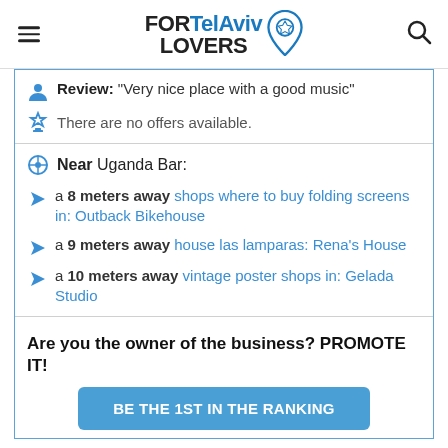FOR Tel Aviv LOVERS
Review: "Very nice place with a good music"
There are no offers available.
Near Uganda Bar:
a 8 meters away shops where to buy folding screens in: Outback Bikehouse
a 9 meters away house las lamparas: Rena's House
a 10 meters away vintage poster shops in: Gelada Studio
Are you the owner of the business? PROMOTE IT!
BE THE 1ST IN THE RANKING